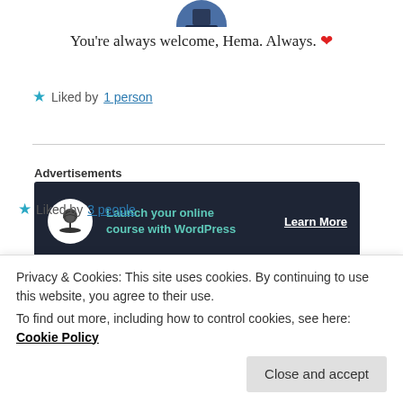[Figure (photo): Circular avatar image of a user, partially visible at top of page]
You’re always welcome, Hema. Always. ❤️
★ Liked by 1 person
[Figure (infographic): Advertisement banner with dark background: 'Launch your online course with WordPress' with Learn More link and bonsai tree icon]
POTTERHEADAANYA
Privacy & Cookies: This site uses cookies. By continuing to use this website, you agree to their use.
To find out more, including how to control cookies, see here: Cookie Policy
Close and accept
★ Liked by 3 people